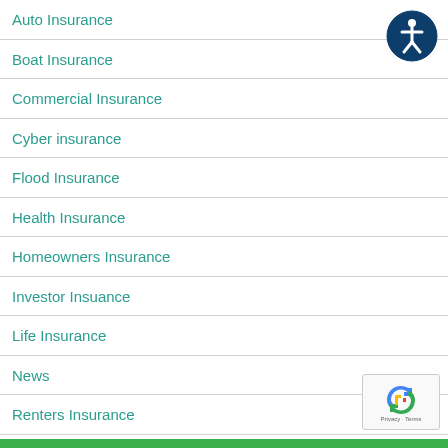Auto Insurance
Boat Insurance
Commercial Insurance
Cyber insurance
Flood Insurance
Health Insurance
Homeowners Insurance
Investor Insuance
Life Insurance
News
Renters Insurance
Uncategorized
[Figure (logo): Accessibility icon - circle with person symbol in dark blue]
[Figure (logo): reCAPTCHA badge with Privacy and Terms text]